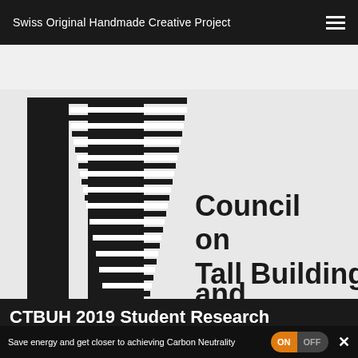Swiss Original Handmade Creative Project
[Figure (logo): Council on Tall Buildings and Urban Habitat (CTBUH) logo — stylized tall building graphic on the left with horizontal stripe pattern, and bold text reading 'Council on Tall Buildings and Urban Habitat' on the right, all in black and white.]
CTBUH 2019 Student Research Competition
Save energy and get closer to achieving Carbon Neutrality